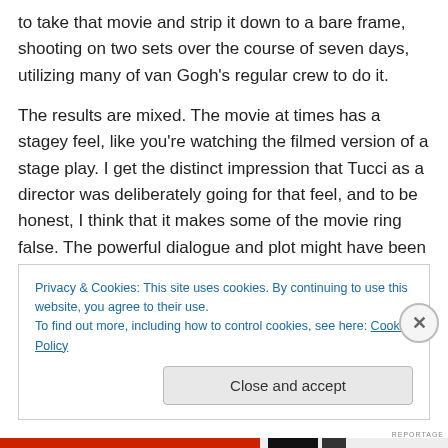to take that movie and strip it down to a bare frame, shooting on two sets over the course of seven days, utilizing many of van Gogh's regular crew to do it.
The results are mixed. The movie at times has a stagey feel, like you're watching the filmed version of a stage play. I get the distinct impression that Tucci as a director was deliberately going for that feel, and to be honest, I think that it makes some of the movie ring false. The powerful dialogue and plot might have been better served in a more natural setting, but that's just me.
Privacy & Cookies: This site uses cookies. By continuing to use this website, you agree to their use. To find out more, including how to control cookies, see here: Cookie Policy
Close and accept